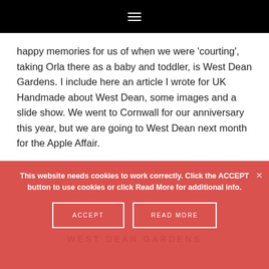☰
happy memories for us of when we were 'courting', taking Orla there as a baby and toddler, is West Dean Gardens. I include here an article I wrote for UK Handmade about West Dean, some images and a slide show. We went to Cornwall for our anniversary this year, but we are going to West Dean next month for the Apple Affair.
READ MORE
This website needs cookies to work correctly. Click the ACCEPT button to use cookies or click Read More for additional info.
ACCEPT
READ MORE
WEST DEAN GARDENS